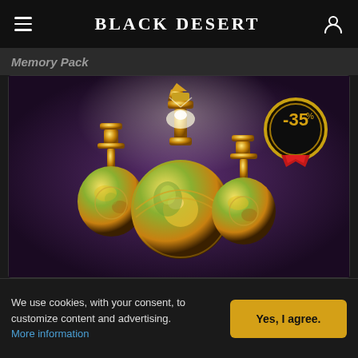Black Desert
Memory Pack
[Figure (photo): Three ornate golden potion bottles decorated with painted floral and figure motifs on a purple background. A -35% discount badge is shown in the top right corner of the image.]
We use cookies, with your consent, to customize content and advertising.
More information